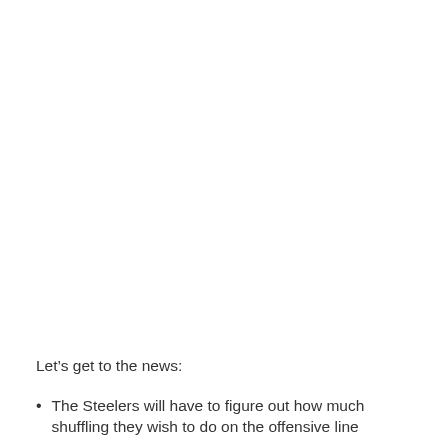Let’s get to the news:
The Steelers will have to figure out how much shuffling they wish to do on the offensive line